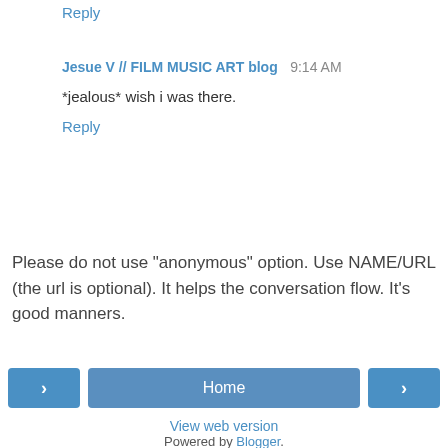Reply
Jesue V // FILM MUSIC ART blog  9:14 AM
*jealous* wish i was there.
Reply
Please do not use "anonymous" option. Use NAME/URL (the url is optional). It helps the conversation flow. It's good manners.
Home
View web version
Powered by Blogger.